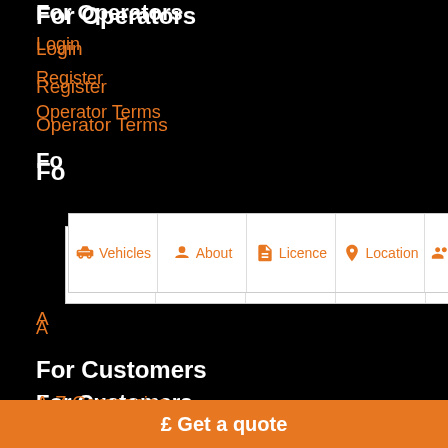For Operators
Login
Register
Operator Terms
Fo...
[Figure (screenshot): Navigation tab bar with icons and labels: Vehicles, About, Licence, Location, and a partially visible fifth tab. White background with orange icons and text.]
A...
For Customers
A-Z Companies
Browse by area
Privacy Policy
Terms & Conditions
Partners
£ Get a quote